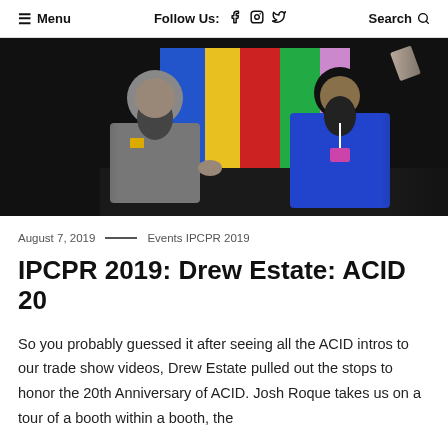≡ Menu   Follow Us: f ⊙ 𝗒   Search 🔍
[Figure (photo): Two bearded men at a trade show booth with colorful background (blue, yellow, red, green panels). One man wears a grey shirt, the other wears a blue jacket with a badge/lanyard.]
August 7, 2019  ——  Events IPCPR 2019
IPCPR 2019: Drew Estate: ACID 20
So you probably guessed it after seeing all the ACID intros to our trade show videos, Drew Estate pulled out the stops to honor the 20th Anniversary of ACID. Josh Roque takes us on a tour of a booth within a booth, the